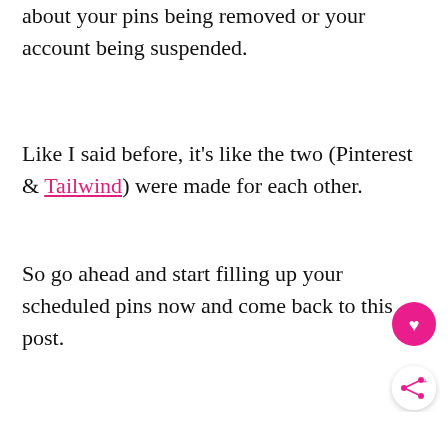about your pins being removed or your account being suspended.
Like I said before, it's like the two (Pinterest & Tailwind) were made for each other.
So go ahead and start filling up your scheduled pins now and come back to this post.
[Figure (other): Pink circular floating action button with heart icon, and white circular share button with share icon]